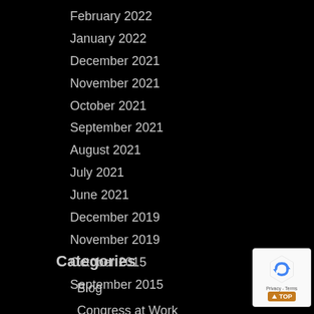February 2022
January 2022
December 2021
November 2021
October 2021
September 2021
August 2021
July 2021
June 2021
December 2019
November 2019
October 2015
September 2015
Categories
Blog
Congress at Work